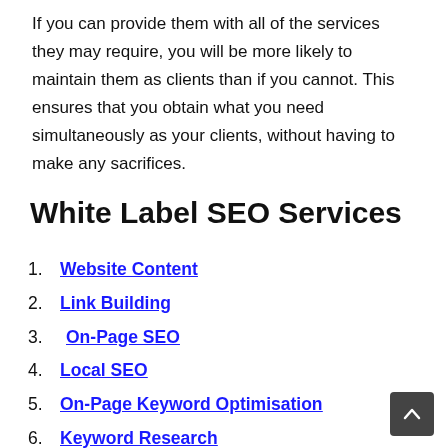If you can provide them with all of the services they may require, you will be more likely to maintain them as clients than if you cannot. This ensures that you obtain what you need simultaneously as your clients, without having to make any sacrifices.
White Label SEO Services
1. Website Content
2. Link Building
3. On-Page SEO
4. Local SEO
5. On-Page Keyword Optimisation
6. Keyword Research